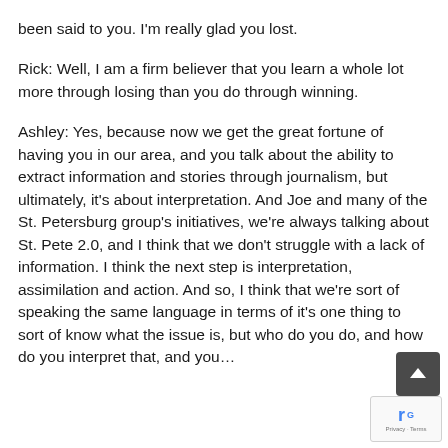been said to you. I'm really glad you lost.
Rick: Well, I am a firm believer that you learn a whole lot more through losing than you do through winning.
Ashley: Yes, because now we get the great fortune of having you in our area, and you talk about the ability to extract information and stories through journalism, but ultimately, it's about interpretation. And Joe and many of the St. Petersburg group's initiatives, we're always talking about St. Pete 2.0, and I think that we don't struggle with a lack of information. I think the next step is interpretation, assimilation and action. And so, I think that we're sort of speaking the same language in terms of it's one thing to sort of know what the issue is, but what do you do, and how do you interpret that, and you...